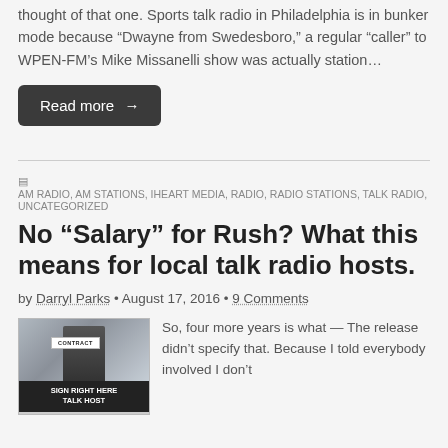thought of that one. Sports talk radio in Philadelphia is in bunker mode because “Dwayne from Swedesboro,” a regular “caller” to WPEN-FM’s Mike Missanelli show was actually station…
Read more →
AM RADIO, AM STATIONS, IHEART MEDIA, RADIO, RADIO STATIONS, TALK RADIO, UNCATEGORIZED
No “Salary” for Rush? What this means for local talk radio hosts.
by Darryl Parks • August 17, 2016 • 9 Comments
[Figure (photo): Photo of a person in a suit holding a contract document, with text overlay reading SIGN RIGHT HERE TALK HOST]
So, four more years is what — The release didn’t specify that. Because I told everybody involved I don’t